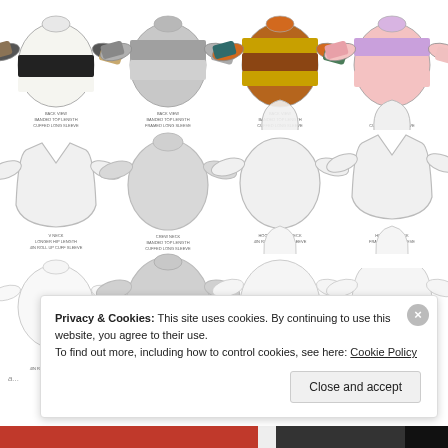[Figure (illustration): Grid of 12 sweater/sweatshirt technical flat illustrations arranged in 3 rows of 4. Top row shows colored/striped sweaters (back views). Middle row shows plain outline sweaters and hooded versions (back views) with V-neck, crew neck, and hooded variants. Bottom row shows more plain outline back views. Each illustration has small text labels below indicating neckline type, body length, and sleeve style. A 'Made for Mermaids' logo with floral border appears at the bottom of the illustration grid.]
Privacy & Cookies: This site uses cookies. By continuing to use this website, you agree to their use. To find out more, including how to control cookies, see here: Cookie Policy
Close and accept